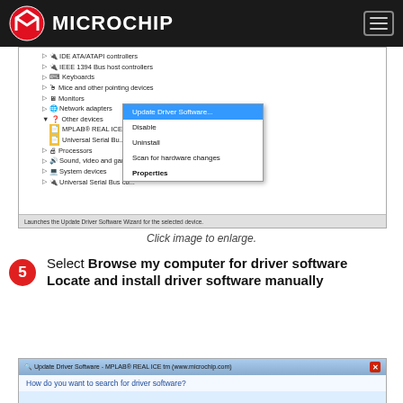Microchip Technology
[Figure (screenshot): Windows Device Manager showing context menu with 'Update Driver Software...' highlighted, over MPLAB REAL ICE device under Other devices]
Click image to enlarge.
5 Select Browse my computer for driver software
Locate and install driver software manually
[Figure (screenshot): Update Driver Software - MPLAB REAL ICE tm (www.microchip.com) dialog showing 'How do you want to search for driver software?']